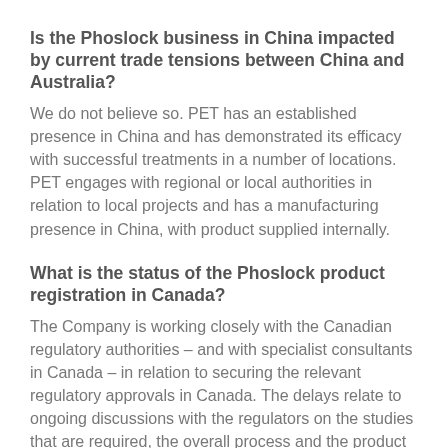Is the Phoslock business in China impacted by current trade tensions between China and Australia?
We do not believe so. PET has an established presence in China and has demonstrated its efficacy with successful treatments in a number of locations. PET engages with regional or local authorities in relation to local projects and has a manufacturing presence in China, with product supplied internally.
What is the status of the Phoslock product registration in Canada?
The Company is working closely with the Canadian regulatory authorities – and with specialist consultants in Canada – in relation to securing the relevant regulatory approvals in Canada. The delays relate to ongoing discussions with the regulators on the studies that are required, the overall process and the product definitions that will apply to Phoslock from a registration stand-point. The Canadian market